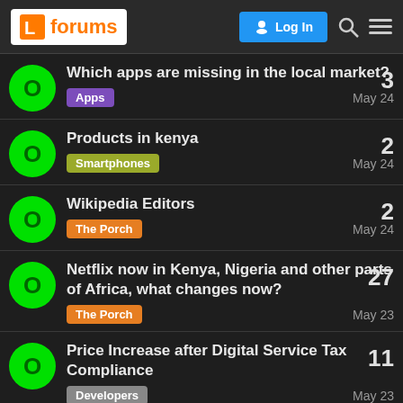forums | Log In
Which apps are missing in the local market? | Apps | May 24 | 3 replies
Products in kenya | Smartphones | May 24 | 2 replies
Wikipedia Editors | The Porch | May 24 | 2 replies
Netflix now in Kenya, Nigeria and other parts of Africa, what changes now? | The Porch | May 23 | 27 replies
Price Increase after Digital Service Tax Compliance | Developers | May 23 | 11 replies